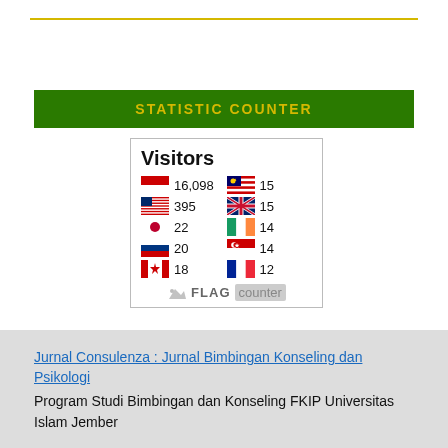STATISTIC COUNTER
[Figure (infographic): Flag counter widget showing visitors by country: Indonesia 16,098; USA 395; Japan 22; Russia 20; Canada 18; Malaysia 15; UK 15; Ireland 14; Singapore 14; France 12. Includes FLAG counter logo.]
Jurnal Consulenza : Jurnal Bimbingan Konseling dan Psikologi
Program Studi Bimbingan dan Konseling FKIP Universitas Islam Jember